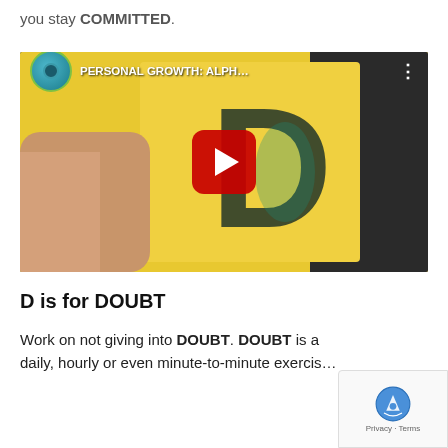you stay COMMITTED.
[Figure (screenshot): YouTube video embed showing 'PERSONAL GROWTH: ALPH...' with a yellow background featuring a large letter D, a channel avatar icon with green ring, and a red YouTube play button in the center.]
D is for DOUBT
Work on not giving into DOUBT. DOUBT is a daily, hourly or even minute-to-minute exercis...